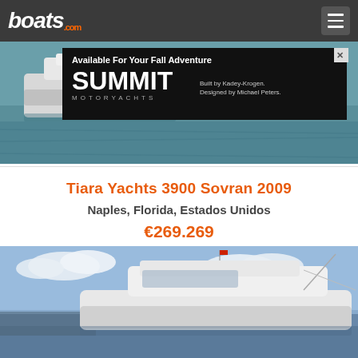boats.com
[Figure (photo): White motor yacht on blue-green water with advertisement banner overlay for Summit Motoryachts]
Tiara Yachts 3900 Sovran 2009
Naples, Florida, Estados Unidos
€269.269
[Figure (photo): White sport yacht moored at marina with blue sky and clouds in background]